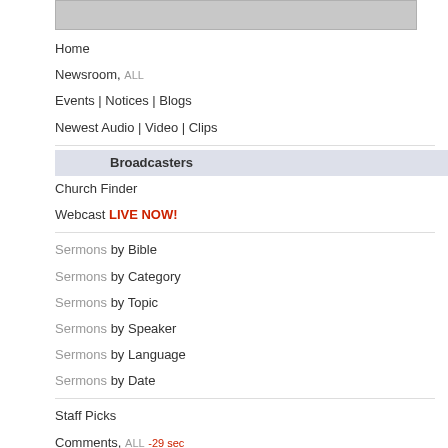[Figure (screenshot): Top partial image/banner area in grey]
Home
Newsroom, ALL
Events | Notices | Blogs
Newest Audio | Video | Clips
Broadcasters
Church Finder
Webcast LIVE NOW!
Sermons by Bible
Sermons by Category
Sermons by Topic
Sermons by Speaker
Sermons by Language
Sermons by Date
Staff Picks
Comments, ALL -29 sec
Top Sermons
Online Bible
| 28 | 29 | 30 | 31 |
| --- | --- | --- | --- |
| 25 | 26 | 27 |
| --- | --- | --- |
N